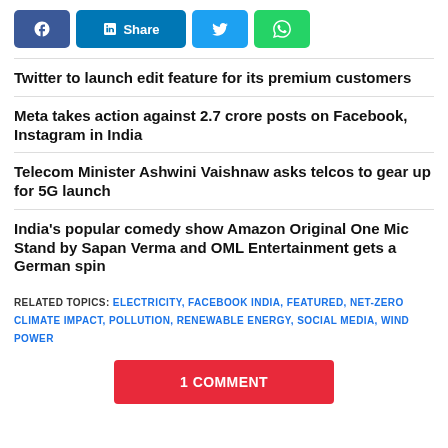[Figure (other): Social sharing buttons: Facebook, LinkedIn Share, Twitter, WhatsApp]
Twitter to launch edit feature for its premium customers
Meta takes action against 2.7 crore posts on Facebook, Instagram in India
Telecom Minister Ashwini Vaishnaw asks telcos to gear up for 5G launch
India's popular comedy show Amazon Original One Mic Stand by Sapan Verma and OML Entertainment gets a German spin
RELATED TOPICS: ELECTRICITY, FACEBOOK INDIA, FEATURED, NET-ZERO CLIMATE IMPACT, POLLUTION, RENEWABLE ENERGY, SOCIAL MEDIA, WIND POWER
1 COMMENT